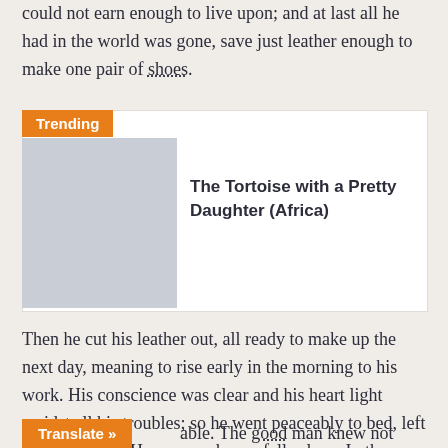could not earn enough to live upon; and at last all he had in the world was gone, save just leather enough to make one pair of shoes.
[Figure (other): Trending content box with placeholder image and title 'The Tortoise with a Pretty Daughter (Africa)']
Then he cut his leather out, all ready to make up the next day, meaning to rise early in the morning to his work. His conscience was clear and his heart light amidst all his troubles; so he went peaceably to bed, left all his cares to Heaven, and soon fell asleep. In the morning after he had said his prayers, he sat himself down to his work; when, to his great wonder, there stood the shoes all ready able. The good man knew not what to